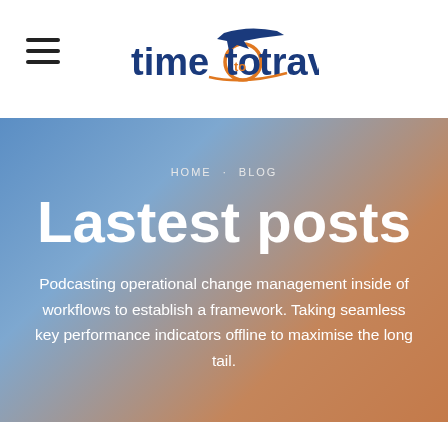[Figure (logo): Time to Travel logo with airplane icon and orange circle accent]
HOME · BLOG
Lastest posts
Podcasting operational change management inside of workflows to establish a framework. Taking seamless key performance indicators offline to maximise the long tail.